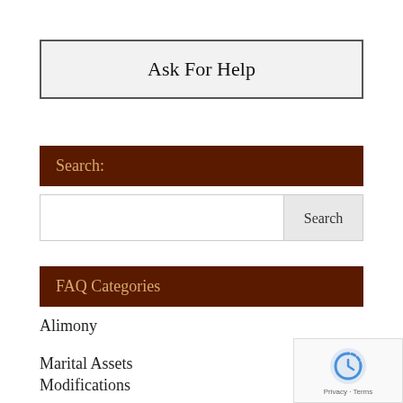Ask For Help
Search:
Search
FAQ Categories
Alimony
Marital Assets
Modifications